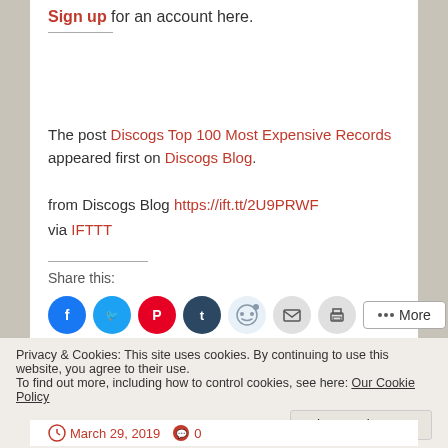Sign up for an account here.
The post Discogs Top 100 Most Expensive Records appeared first on Discogs Blog.
from Discogs Blog https://ift.tt/2U9PRWF
via IFTTT
Share this:
[Figure (other): Social share icons: Facebook, Twitter, Pinterest, Tumblr, Reddit, Email, Print, and More button]
Privacy & Cookies: This site uses cookies. By continuing to use this website, you agree to their use.
To find out more, including how to control cookies, see here: Our Cookie Policy
Close and accept
March 29, 2019  0